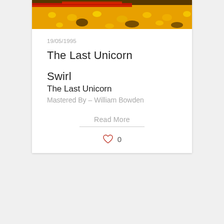[Figure (photo): Album artwork showing colorful abstract texture with yellow, red, and black colors]
19/05/1995
The Last Unicorn
Swirl
The Last Unicorn
Mastered By – William Bowden
Read More
0